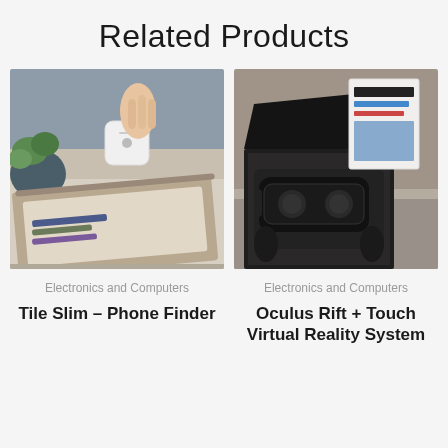Related Products
[Figure (photo): Hand placing a Tile slim tracker into a leather wallet with card slots, plant in background]
Electronics and Computers
Tile Slim – Phone Finder
[Figure (photo): Oculus Rift + Touch Virtual Reality System open box showing headset and controllers]
Electronics and Computers
Oculus Rift + Touch Virtual Reality System